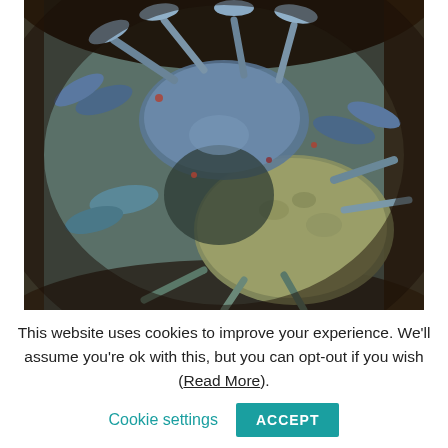[Figure (photo): Close-up photograph of multiple blue crabs piled together in what appears to be a dark round container or bucket. The crabs have blue-tinted claws and shells in various shades of blue-green and brown. The background is a dark rocky or earthen texture.]
This website uses cookies to improve your experience. We'll assume you're ok with this, but you can opt-out if you wish (Read More). Cookie settings ACCEPT